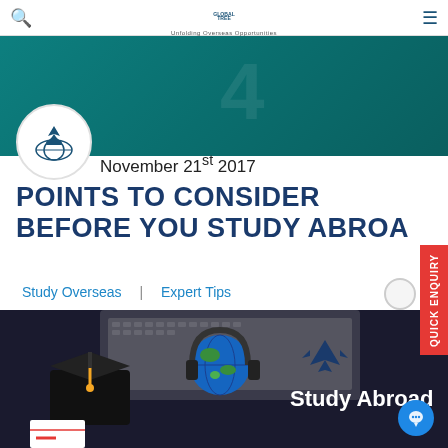Global Tree - Unfolding Overseas Opportunities
November 21st 2017
POINTS TO CONSIDER BEFORE YOU STUDY ABROAD
Study Overseas | Expert Tips
[Figure (photo): Study abroad themed photo showing a graduation cap, globe on a laptop keyboard, and diploma, with text 'Study Abroad' and a plane icon on dark background]
QUICK ENQUIRY